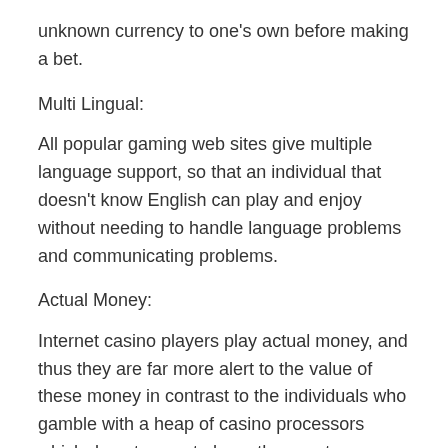unknown currency to one's own before making a bet.
Multi Lingual:
All popular gaming web sites give multiple language support, so that an individual that doesn't know English can play and enjoy without needing to handle language problems and communicating problems.
Actual Money:
Internet casino players play actual money, and thus they are far more alert to the value of these money in contrast to the individuals who gamble with a heap of casino processors which do not seem to have the exact same price. Unlike land casinos, online casinos encourage gamblers to gamble away far more money. More over, an online casino keeps calculating the amount the player